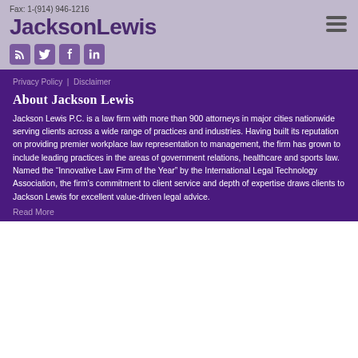Fax: 1-(914) 946-1216
JacksonLewis
Privacy Policy | Disclaimer
About Jackson Lewis
Jackson Lewis P.C. is a law firm with more than 900 attorneys in major cities nationwide serving clients across a wide range of practices and industries. Having built its reputation on providing premier workplace law representation to management, the firm has grown to include leading practices in the areas of government relations, healthcare and sports law. Named the “Innovative Law Firm of the Year” by the International Legal Technology Association, the firm’s commitment to client service and depth of expertise draws clients to Jackson Lewis for excellent value-driven legal advice.
Read More